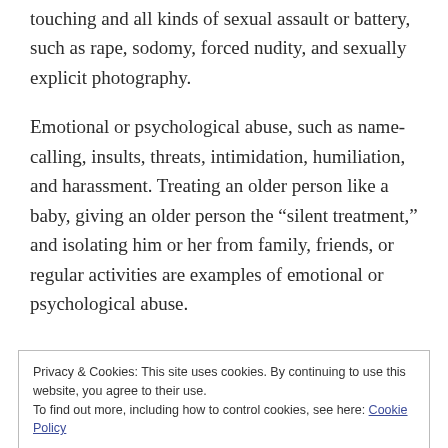touching and all kinds of sexual assault or battery, such as rape, sodomy, forced nudity, and sexually explicit photography.
Emotional or psychological abuse, such as name-calling, insults, threats, intimidation, humiliation, and harassment. Treating an older person like a baby, giving an older person the “silent treatment,” and isolating him or her from family, friends, or regular activities are examples of emotional or psychological abuse.
Privacy & Cookies: This site uses cookies. By continuing to use this website, you agree to their use.
To find out more, including how to control cookies, see here: Cookie Policy
Close and accept